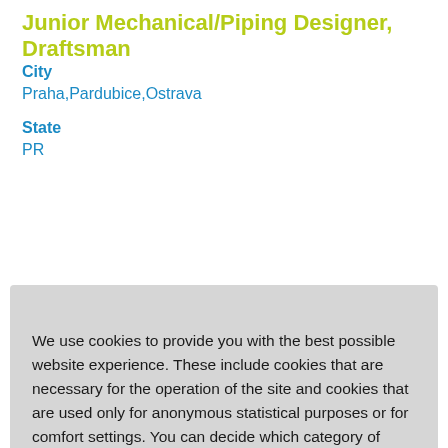Junior Mechanical/Piping Designer, Draftsman
City
Praha,Pardubice,Ostrava
State
PR
We use cookies to provide you with the best possible website experience. These include cookies that are necessary for the operation of the site and cookies that are used only for anonymous statistical purposes or for comfort settings. You can decide which category of cookies you would like to allow. Please note that, depending on your settings, not all features of the site may be available. You will find further information in our data protection declaration.
Modify cookie preferences
Accept all cookies